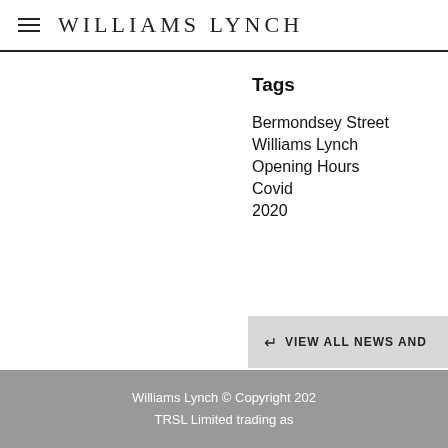WILLIAMS LYNCH
Tags
Bermondsey Street
Williams Lynch
Opening Hours
Covid
2020
VIEW ALL NEWS AND
Williams Lynch © Copyright 202
TRSL Limited trading as